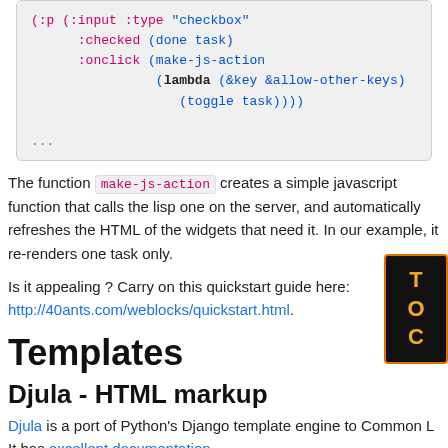[Figure (screenshot): Code block showing Lisp/Clojure syntax with colored keywords: (:p (:input :type "checkbox" :checked (done task) :onclick (make-js-action (lambda (&key &allow-other-keys) (toggle task)))) ...)]
The function make-js-action creates a simple javascript function that calls the lisp one on the server, and automatically refreshes the HTML of the widgets that need it. In our example, it re-renders one task only.
Is it appealing ? Carry on this quickstart guide here: http://40ants.com/weblocks/quickstart.html.
Templates
Djula - HTML markup
Djula is a port of Python's Django template engine to Common Lisp. It has excellent documentation.
Caveman uses it by default, but otherwise it is not difficult to setup.